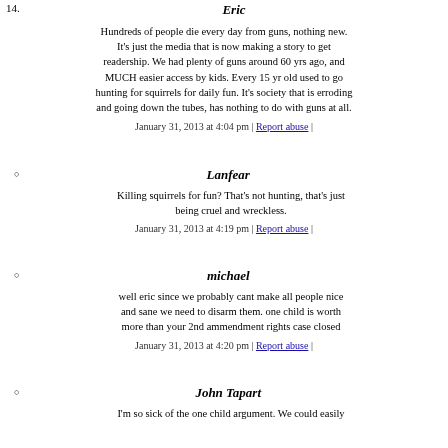14.
Eric
Hundreds of people die every day from guns, nothing new. It's just the media that is now making a story to get readership. We had plenty of guns around 60 yrs ago, and MUCH easier access by kids. Every 15 yr old used to go hunting for squirrels for daily fun. It's society that is erroding and going down the tubes, has nothing to do with guns at all.
January 31, 2013 at 4:04 pm | Report abuse |
Lanfear
Killing squirrels for fun? That's not hunting, that's just being cruel and wreckless.
January 31, 2013 at 4:19 pm | Report abuse |
michael
well eric since we probably cant make all people nice and sane we need to disarm them. one child is worth more than your 2nd ammendment rights case closed
January 31, 2013 at 4:20 pm | Report abuse |
John Tapart
I'm so sick of the one child argument. We could easily